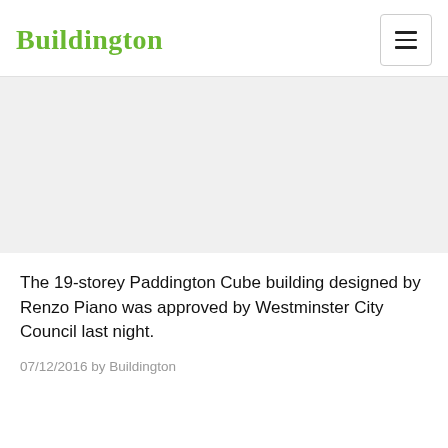Buildington
[Figure (photo): Gray placeholder image area for an article photo]
The 19-storey Paddington Cube building designed by Renzo Piano was approved by Westminster City Council last night.
07/12/2016 by Buildington